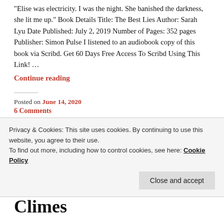"Elise was electricity. I was the night. She banished the darkness, she lit me up." Book Details Title: The Best Lies Author: Sarah Lyu Date Published: July 2, 2019 Number of Pages: 352 pages Publisher: Simon Pulse I listened to an audiobook copy of this book via Scribd. Get 60 Days Free Access To Scribd Using This Link!  …
Continue reading
Posted on June 14, 2020
6 Comments
Privacy & Cookies: This site uses cookies. By continuing to use this website, you agree to their use.
To find out more, including how to control cookies, see here: Cookie Policy
Close and accept
Climes